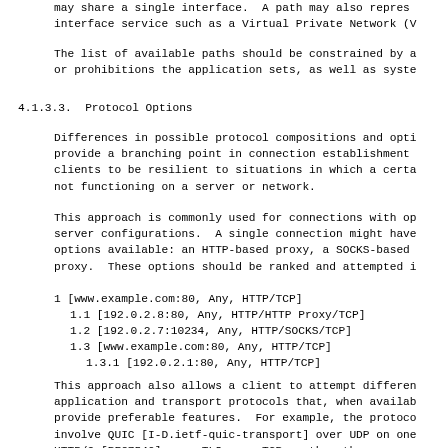may share a single interface.  A path may also represe
interface service such as a Virtual Private Network (V
The list of available paths should be constrained by a
or prohibitions the application sets, as well as syste
4.1.3.3.  Protocol Options
Differences in possible protocol compositions and opti
provide a branching point in connection establishment
clients to be resilient to situations in which a certa
not functioning on a server or network.
This approach is commonly used for connections with op
server configurations.  A single connection might have
options available: an HTTP-based proxy, a SOCKS-based
proxy.  These options should be ranked and attempted i
1 [www.example.com:80, Any, HTTP/TCP]
1.1 [192.0.2.8:80, Any, HTTP/HTTP Proxy/TCP]
1.2 [192.0.2.7:10234, Any, HTTP/SOCKS/TCP]
1.3 [www.example.com:80, Any, HTTP/TCP]
1.3.1 [192.0.2.1:80, Any, HTTP/TCP]
This approach also allows a client to attempt differen
application and transport protocols that, when availab
provide preferable features.  For example, the protoco
involve QUIC [I-D.ietf-quic-transport] over UDP on one
HTTP/2 [RFC7540] over TLS over TCP on the other: